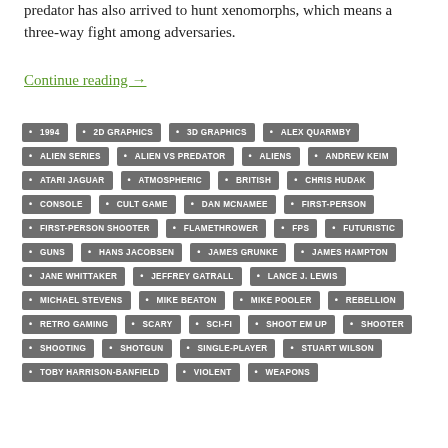predator has also arrived to hunt xenomorphs, which means a three-way fight among adversaries.
Continue reading →
1994
2D GRAPHICS
3D GRAPHICS
ALEX QUARMBY
ALIEN SERIES
ALIEN VS PREDATOR
ALIENS
ANDREW KEIM
ATARI JAGUAR
ATMOSPHERIC
BRITISH
CHRIS HUDAK
CONSOLE
CULT GAME
DAN MCNAMEE
FIRST-PERSON
FIRST-PERSON SHOOTER
FLAMETHROWER
FPS
FUTURISTIC
GUNS
HANS JACOBSEN
JAMES GRUNKE
JAMES HAMPTON
JANE WHITTAKER
JEFFREY GATRALL
LANCE J. LEWIS
MICHAEL STEVENS
MIKE BEATON
MIKE POOLER
REBELLION
RETRO GAMING
SCARY
SCI-FI
SHOOT EM UP
SHOOTER
SHOOTING
SHOTGUN
SINGLE-PLAYER
STUART WILSON
TOBY HARRISON-BANFIELD
VIOLENT
WEAPONS